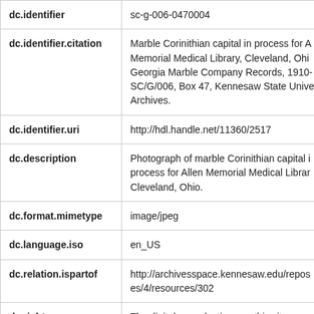| Field | Value |
| --- | --- |
| dc.identifier | sc-g-006-0470004 |
| dc.identifier.citation | Marble Corinithian capital in process for Allen Memorial Medical Library, Cleveland, Ohio. Georgia Marble Company Records, 1910-2004, SC/G/006, Box 47, Kennesaw State University Archives. |
| dc.identifier.uri | http://hdl.handle.net/11360/2517 |
| dc.description | Photograph of marble Corinithian capital in process for Allen Memorial Medical Library, Cleveland, Ohio. |
| dc.format.mimetype | image/jpeg |
| dc.language.iso | en_US |
| dc.relation.ispartof | http://archivesspace.kennesaw.edu/repositories/4/resources/302 |
| dc.rights | The digital reproductions on this site are provided for research consultation and |